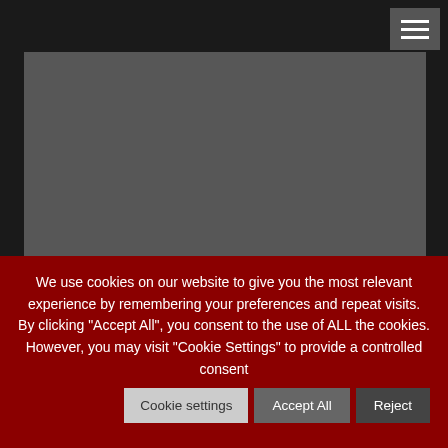[Figure (screenshot): Dark grey video/media placeholder area on a dark background, with a hamburger menu button in the top right corner]
We use cookies on our website to give you the most relevant experience by remembering your preferences and repeat visits. By clicking “Accept All”, you consent to the use of ALL the cookies. However, you may visit "Cookie Settings" to provide a controlled consent
Cookie settings
Accept All
Reject